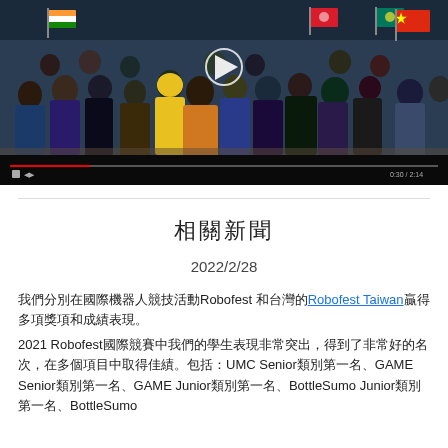[Figure (photo): Group photo of international robotics competition participants holding flags from various countries including India, China, Macau, Mexico, Italy at an indoor venue. A video play button is visible in the center.]
相關新聞
2022/2/28
我們分別在國際機器人競技活動Robofest 和台灣的Robofest Taiwan贏得多項獎項和成績表現。
2021 Robofest國際競賽中我們的學生表現非常突出，得到了非常好的名次，在多個項目中取得佳績。包括：UMC Senior類別第一名、GAME Senior類別第一名、GAME Junior類別第一名、BottleSumo Junior類別第一名、BottleSumo